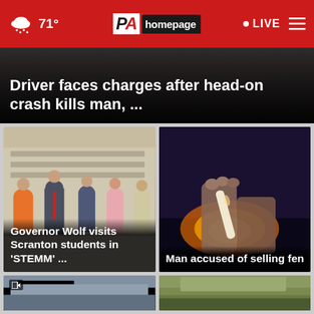71° PA homepage LIVE
Driver faces charges after head-on crash kills man, ...
[Figure (photo): Group photo of Governor Wolf with Scranton students in a school setting]
Governor Wolf visits Scranton students in 'STEMM' ...
[Figure (photo): Close-up of hands rolling what appears to be currency or drug paraphernalia with orange glowing lights in background]
Man accused of selling fentanyl in Northumberland ...
[Figure (photo): Thumbnail image of building exterior]
[Figure (photo): Thumbnail image of outdoor green scene]